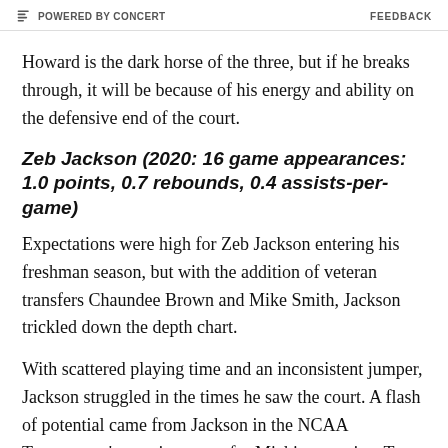POWERED BY CONCERT | FEEDBACK
Howard is the dark horse of the three, but if he breaks through, it will be because of his energy and ability on the defensive end of the court.
Zeb Jackson (2020: 16 game appearances: 1.0 points, 0.7 rebounds, 0.4 assists-per-game)
Expectations were high for Zeb Jackson entering his freshman season, but with the addition of veteran transfers Chaundee Brown and Mike Smith, Jackson trickled down the depth chart.
With scattered playing time and an inconsistent jumper, Jackson struggled in the times he saw the court. A flash of potential came from Jackson in the NCAA Tournament's opening game for Michigan against Texas Southern. Jackson shot the ball 2 of 4 through...